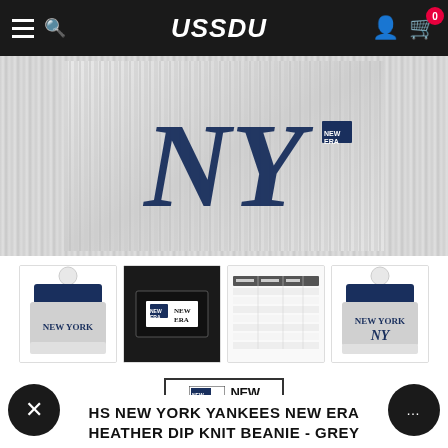USSDU
[Figure (photo): Close-up of a grey New York Yankees knit beanie showing NY logo embroidery on heather grey ribbed fabric]
[Figure (photo): Thumbnail: Side view of New York Yankees beanie with white pom and navy band with NEW YORK text]
[Figure (photo): Thumbnail: New Era box packaging in black with logo label]
[Figure (table-as-image): Thumbnail: Size chart table]
[Figure (photo): Thumbnail: Another view of New York Yankees beanie with white pom and NY logo]
[Figure (logo): New Era brand logo with flag icon and NEW ERA text]
HS NEW YORK YANKEES NEW ERA HEATHER DIP KNIT BEANIE - GREY